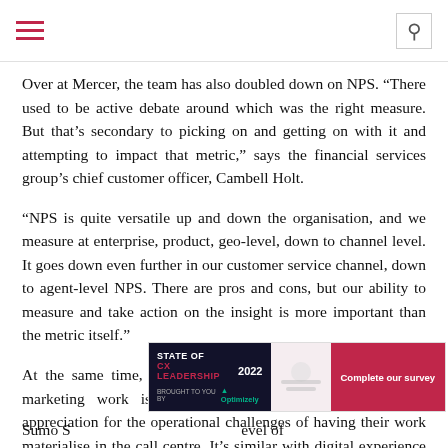Over at Mercer, the team has also doubled down on NPS. “There used to be active debate around which was the right measure. But that’s secondary to picking on and getting on with it and attempting to impact that metric,” says the financial services group’s chief customer officer, Cambell Holt.
“NPS is quite versatile up and down the organisation, and we measure at enterprise, product, geo-level, down to channel level. It goes down even further in our customer service channel, down to agent-level NPS. There are pros and cons, but our ability to measure and take action on the insight is more important than the metric itself.”
At the same time, Holt says Mercer has measures to ensure marketing work is structured in a way that ensures an appreciation for the operational challenges of having their work materialise in the call centre. It’s similar with digital experience changes at Mercer.
[Figure (infographic): Advertisement banner: STATE OF CX LEADERSHIP 2022 - Complete our survey, brought to you by Optimizely]
Sumo S... level of